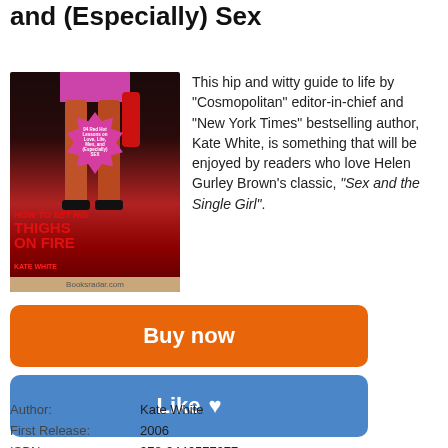Red-Hot Lessons on Love, Life, Men, and (Especially) Sex
[Figure (photo): Book cover of 'How to Set His Thighs on Fire' by Kate White, showing a woman's legs in high heels with a pink starburst badge, red title text, and a Booksradar.com watermark.]
This hip and witty guide to life by "Cosmopolitan" editor-in-chief and "New York Times" bestselling author, Kate White, is something that will be enjoyed by readers who love Helen Gurley Brown's classic, "Sex and the Single Girl".
Buy now
Like ♥
| Author: | Kate White |
| First Release: | 2006 |
| ISBN: | 978-0446577977 |